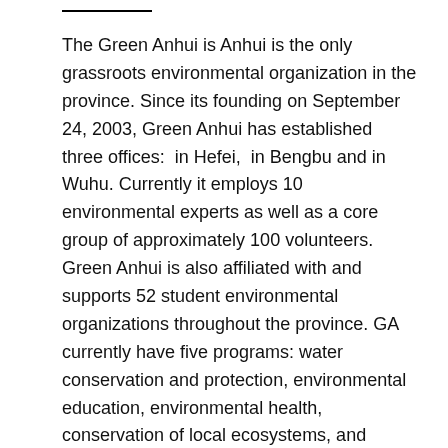The Green Anhui is Anhui is the only grassroots environmental organization in the province. Since its founding on September 24, 2003, Green Anhui has established three offices:  in Hefei,  in Bengbu and in Wuhu. Currently it employs 10 environmental experts as well as a core group of approximately 100 volunteers. Green Anhui is also affiliated with and supports 52 student environmental organizations throughout the province. GA currently have five programs: water conservation and protection, environmental education, environmental health, conservation of local ecosystems, and public awareness campaigns. Since its founding, Green Anhui has achieved international recognition for its powerful impacts on Anhui's environment and society. Green Anhui has received two awards: Ford's 2004 Conservation and Environmental Grant as well as Society of Environment and Ecology's (SEE) 2005 Ecological